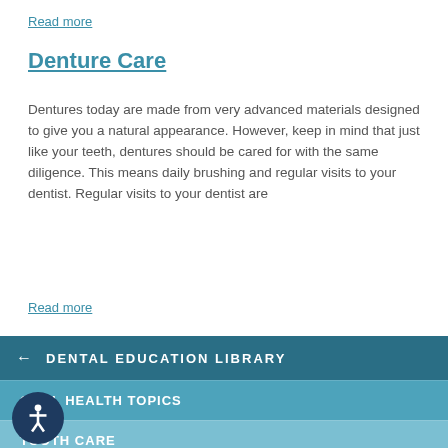Read more
Denture Care
Dentures today are made from very advanced materials designed to give you a natural appearance. However, keep in mind that just like your teeth, dentures should be cared for with the same diligence. This means daily brushing and regular visits to your dentist. Regular visits to your dentist are
Read more
DENTAL EDUCATION LIBRARY
ORAL HEALTH TOPICS
TOOTH CARE
DENTAL PROBLEMS
TREATMENT
PAIN MANAGEMENT